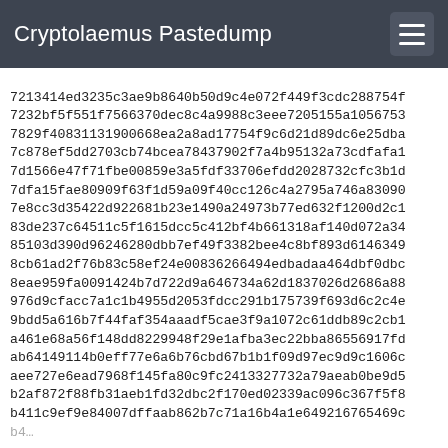Cryptolaemus Pastedump
7213414ed3235c3ae9b8640b50d9c4e072f449f3cdc288754f
7232bf5f551f7566370dec8c4a9988c3eee7205155a1056753
7829f40831131900668ea2a8ad17754f9c6d21d89dc6e25dba
7c878ef5dd2703cb74bcea78437902f7a4b95132a73cdfafa1
7d1566e47f71fbe00859e3a5fdf33706efdd2028732cfc3b1d
7dfa15fae80909f63f1d59a09f40cc126c4a2795a746a83090
7e8cc3d35422d922681b23e1490a24973b77ed632f1200d2c1
83de237c64511c5f1615dcc5c412bf4b661318af140d072a34
85103d390d96246280dbb7ef49f3382bee4c8bf893d6146349
8cb61ad2f76b83c58ef24e00836266494edbadaa464dbf0dbc
8eae959fa0091424b7d722d9a646734a62d1837026d2686a88
976d9cfacc7a1c1b4955d2053fdcc291b175739f693d6c2c4e
9bdd5a616b7f44faf354aaadf5cae3f9a1072c61ddb89c2cb1
a461e68a56f148dd8229948f29e1afba3ec22bba86556917fd
ab64149114b0eff77e6a6b76cbd67b1b1f09d97ec9d9c1606c
aee727e6ead7968f145fa80c9fc2413327732a79aeab0be9d5
b2af872f88fb31aeb1fd32dbc2f170ed02339ac096c367f5f8
b411c9ef9e84007dffaab862b7c71a16b4a1e649216765469c